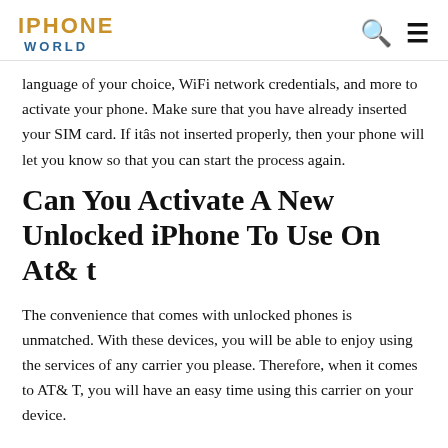IPHONE WORLD
language of your choice, WiFi network credentials, and more to activate your phone. Make sure that you have already inserted your SIM card. If itâs not inserted properly, then your phone will let you know so that you can start the process again.
Can You Activate A New Unlocked iPhone To Use On At& t
The convenience that comes with unlocked phones is unmatched. With these devices, you will be able to enjoy using the services of any carrier you please. Therefore, when it comes to AT& T, you will have an easy time using this carrier on your device.